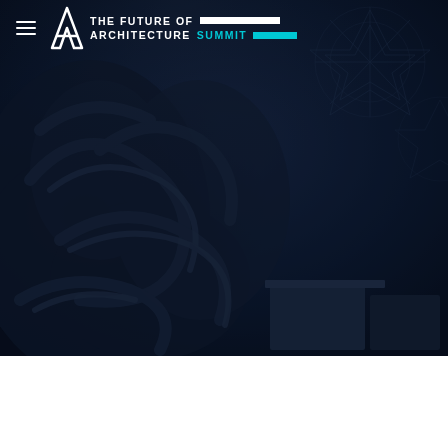[Figure (photo): Dark navy blue hero image showing an interior space with elaborate Arabic calligraphy mural artwork on the wall and geometric star patterns visible in the background, lit with dim ambient lighting]
THE FUTURE OF ARCHITECTURE SUMMIT